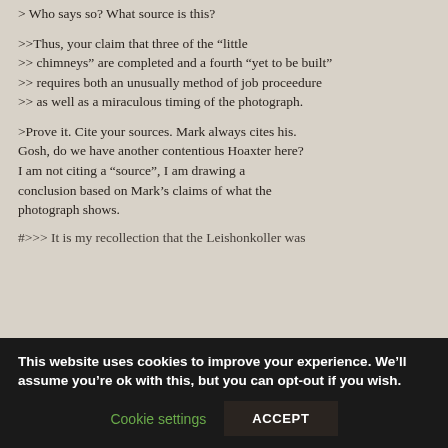> Who says so? What source is this?
>>Thus, your claim that three of the “little chimneys” are completed and a fourth “yet to be built” requires both an unusually method of job proceedure as well as a miraculous timing of the photograph.
>Prove it. Cite your sources. Mark always cites his. Gosh, do we have another contentious Hoaxter here? I am not citing a “source”, I am drawing a conclusion based on Mark’s claims of what the photograph shows.
#>>> It is my recollection that the Leishonkoller was
This website uses cookies to improve your experience. We’ll assume you’re ok with this, but you can opt-out if you wish.
Cookie settings | ACCEPT